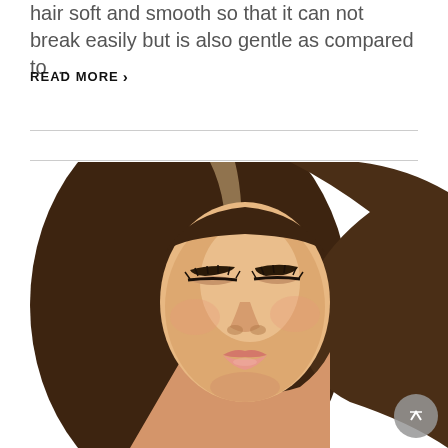hair soft and smooth so that it can not break easily but is also gentle as compared to ...
READ MORE ›
[Figure (photo): Close-up portrait of a young woman with long brown highlighted hair, eyes closed, wearing subtle makeup with defined brows and nude lips, against a white background. A circular scroll-to-top button appears in the bottom right corner.]